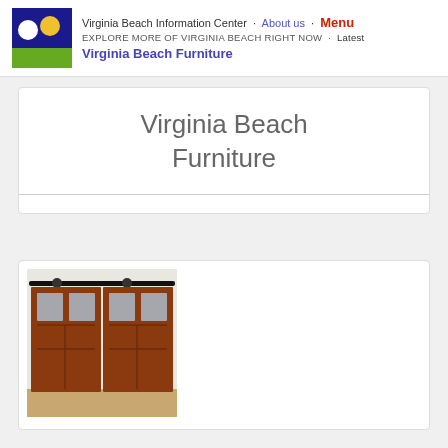Virginia Beach Information Center · About us · Menu
EXPLORE MORE OF VIRGINIA BEACH RIGHT NOW · Latest
Virginia Beach Furniture
Virginia Beach Furniture
[Figure (photo): Photo of wooden barn-style sliding doors with glass panels on a black rail track, shown in a room interior]